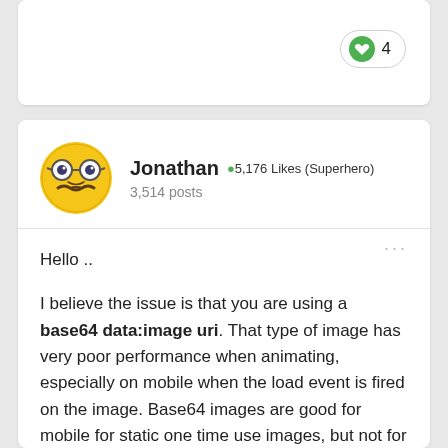[Figure (other): Like button with heart icon showing count of 4]
[Figure (illustration): User avatar: yellow smiley face emoji with mustache and glasses]
Jonathan ●5,176 Likes (Superhero) 3,514 posts
Hello ..

I believe the issue is that you are using a base64 data:image uri. That type of image has very poor performance when animating, especially on mobile when the load event is fired on the image. Base64 images are good for mobile for static one time use images, but not for animating. You should try and replace your jetpack dude with an actual image gif, png, or jpeg. And you will see better performance